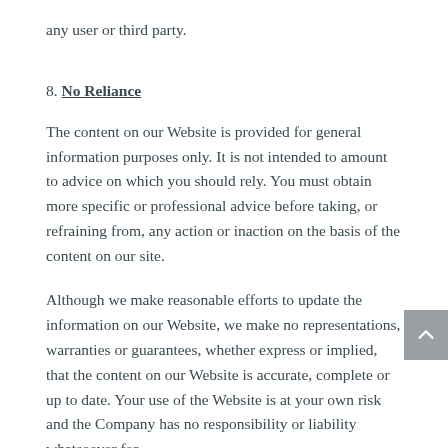any user or third party.
8. No Reliance
The content on our Website is provided for general information purposes only. It is not intended to amount to advice on which you should rely. You must obtain more specific or professional advice before taking, or refraining from, any action or inaction on the basis of the content on our site.
Although we make reasonable efforts to update the information on our Website, we make no representations, warranties or guarantees, whether express or implied, that the content on our Website is accurate, complete or up to date. Your use of the Website is at your own risk and the Company has no responsibility or liability whatsoever for